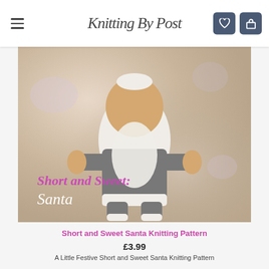Knitting By Post
[Figure (photo): Knitted Santa toy viewed from behind, wearing grey trousers and white top, with yellow/tan arms and legs, displayed against a soft glittery background. Text overlay reads 'Short and Sweet Santa']
Short and Sweet Santa Knitting Pattern
£3.99
A Little Festive Short and Sweet Santa Knitting Pattern